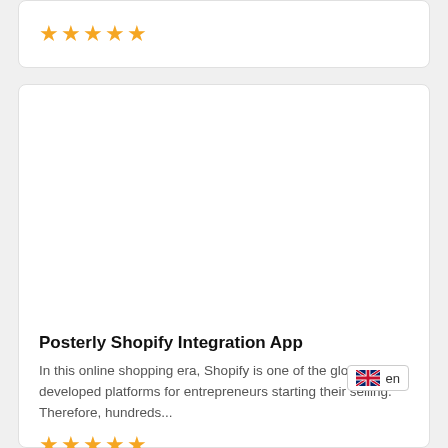[Figure (other): Star rating: 5 gold stars in a card at the top of the page]
[Figure (other): Blank white image placeholder area inside a card]
Posterly Shopify Integration App
In this online shopping era, Shopify is one of the globally developed platforms for entrepreneurs starting their selling. Therefore, hundreds...
[Figure (other): Star rating: 5 gold stars at the bottom of the card]
[Figure (other): UK flag language badge showing 'en']